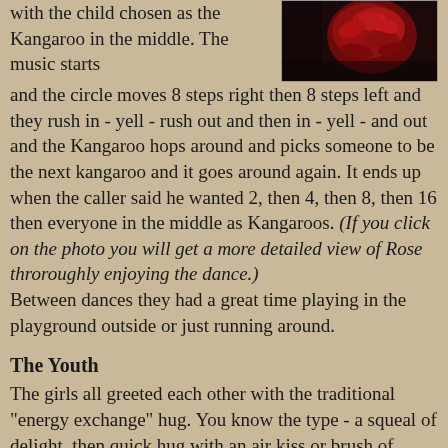with the child chosen as the Kangaroo in the middle. The music starts and the circle moves 8 steps right then 8 steps left and they rush in - yell - rush out and then in - yell - and out and the Kangaroo hops around and picks someone to be the next kangaroo and it goes around again. It ends up when the caller said he wanted 2, then 4, then 8, then 16 then everyone in the middle as Kangaroos. (If you click on the photo you will get a more detailed view of Rose throroughly enjoying the dance.)
[Figure (photo): Close-up photo of a red flower, possibly a rose, against a dark background]
Between dances they had a great time playing in the playground outside or just running around.
The Youth
The girls all greeted each other with the traditional "energy exchange" hug. You know the type - a squeal of delight, then quick hug with an air kiss or brush of cheeks. All girls do this and my theory is that it is a form of energy exchange. The boys method of energy exchange is a gruff "Gedday" and then shake hands firmly, quickly followed by hands in pockets, a slight shuffle of the feet with "How're ya goin" and